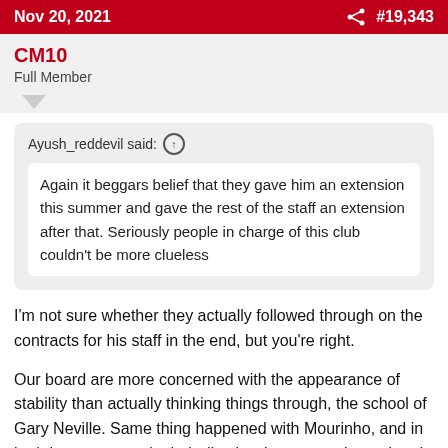Nov 20, 2021  #19,343
CM10
Full Member
Ayush_reddevil said: ↑ Again it beggars belief that they gave him an extension this summer and gave the rest of the staff an extension after that. Seriously people in charge of this club couldn't be more clueless
I'm not sure whether they actually followed through on the contracts for his staff in the end, but you're right.
Our board are more concerned with the appearance of stability than actually thinking things through, the school of Gary Neville. Same thing happened with Mourinho, and in both instances made their dismissals more prolonged and